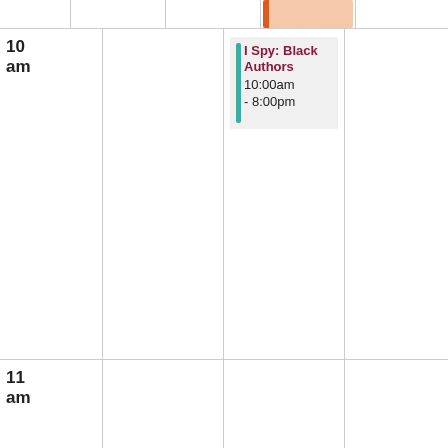| Time | Col1 | Col2 | Col3 | Col4 |
| --- | --- | --- | --- | --- |
|  |  |  | top partial event | partial event right |
| 10 am |  | I Spy: Black Authors 10:00am - 8:00pm |  | AARP Tax Preparation Assistance 10:30am - 3:00pm |
| 11 am |  |  |  |  |